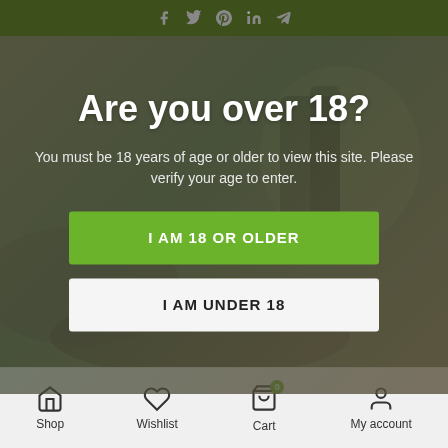Social media icons: Facebook, Twitter, Pinterest, LinkedIn, Telegram
Are you over 18?
You must be 18 years of age or older to view this site. Please verify your age to enter.
[Figure (screenshot): Age verification modal overlay with blurred product background (CBD oil bottles, sunglasses, plants on table)]
Shop | Wishlist | Cart | My account